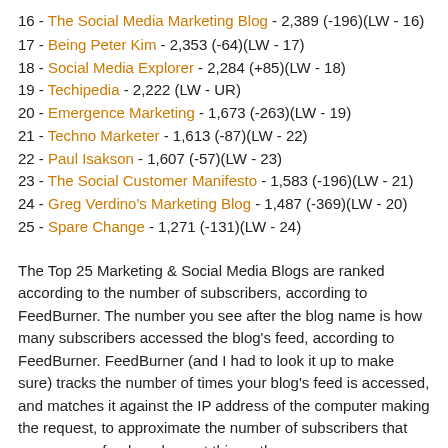16 - The Social Media Marketing Blog - 2,389 (-196)(LW - 16)
17 - Being Peter Kim - 2,353 (-64)(LW - 17)
18 - Social Media Explorer - 2,284 (+85)(LW - 18)
19 - Techipedia - 2,222 (LW - UR)
20 - Emergence Marketing - 1,673 (-263)(LW - 19)
21 - Techno Marketer - 1,613 (-87)(LW - 22)
22 - Paul Isakson - 1,607 (-57)(LW - 23)
23 - The Social Customer Manifesto - 1,583 (-196)(LW - 21)
24 - Greg Verdino's Marketing Blog - 1,487 (-369)(LW - 20)
25 - Spare Change - 1,271 (-131)(LW - 24)
The Top 25 Marketing & Social Media Blogs are ranked according to the number of subscribers, according to FeedBurner. The number you see after the blog name is how many subscribers accessed the blog's feed, according to FeedBurner. FeedBurner (and I had to look it up to make sure) tracks the number of times your blog's feed is accessed, and matches it against the IP address of the computer making the request, to approximate the number of subscribers that access your feed, and report this as the